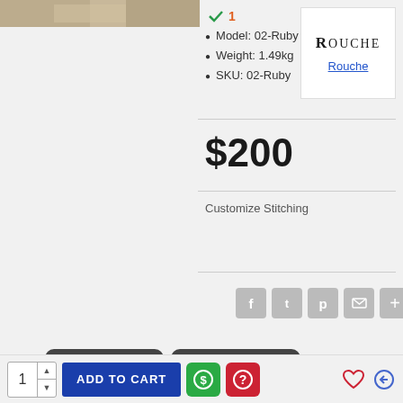[Figure (photo): Partial product image at top left]
✓ 1
Model: 02-Ruby
Weight: 1.49kg
SKU: 02-Ruby
[Figure (logo): Rouche brand logo box with link]
$200
Customize Stitching
— Please Select —
Tags: Designer Salwar Suits  Rouche Chikankari 2020
1  ADD TO CART